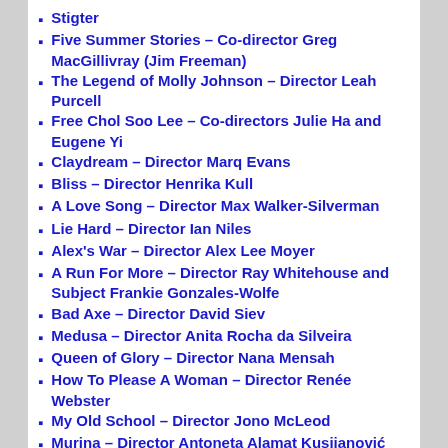Stigter
Five Summer Stories – Co-director Greg MacGillivray (Jim Freeman)
The Legend of Molly Johnson – Director Leah Purcell
Free Chol Soo Lee – Co-directors Julie Ha and Eugene Yi
Claydream – Director Marq Evans
Bliss – Director Henrika Kull
A Love Song – Director Max Walker-Silverman
Lie Hard – Director Ian Niles
Alex's War – Director Alex Lee Moyer
A Run For More – Director Ray Whitehouse and Subject Frankie Gonzales-Wolfe
Bad Axe – Director David Siev
Medusa – Director Anita Rocha da Silveira
Queen of Glory – Director Nana Mensah
How To Please A Woman – Director Renée Webster
My Old School – Director Jono McLeod
Murina – Director Antoneta Alamat Kusijanović
Gabby Giffords Won't Back Down – Co-directors Betsy West and Julie Cohen
Good Madam – Director Jenny Cato Bass and